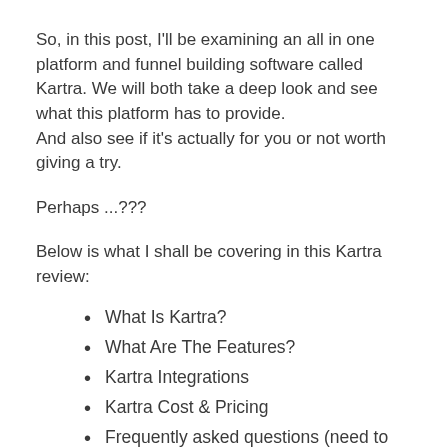So, in this post, I'll be examining an all in one platform and funnel building software called Kartra. We will both take a deep look and see what this platform has to provide.
And also see if it's actually for you or not worth giving a try.
Perhaps ...???
Below is what I shall be covering in this Kartra review:
What Is Kartra?
What Are The Features?
Kartra Integrations
Kartra Cost & Pricing
Frequently asked questions (need to check